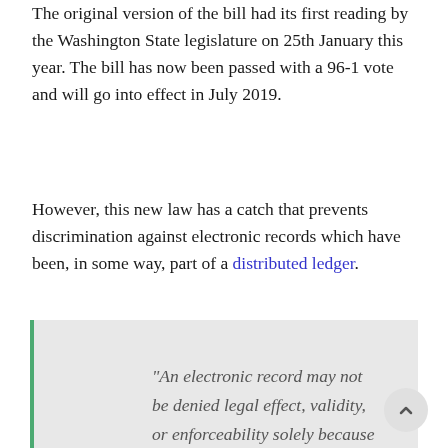The original version of the bill had its first reading by the Washington State legislature on 25th January this year. The bill has now been passed with a 96-1 vote and will go into effect in July 2019.
However, this new law has a catch that prevents discrimination against electronic records which have been, in some way, part of a distributed ledger.
“An electronic record may not be denied legal effect, validity, or enforceability solely because it is generated, communicated, received, or stored using distributed ledger technology.”
The bill also provides legal definitions for the terms that are often found to varying forms and...